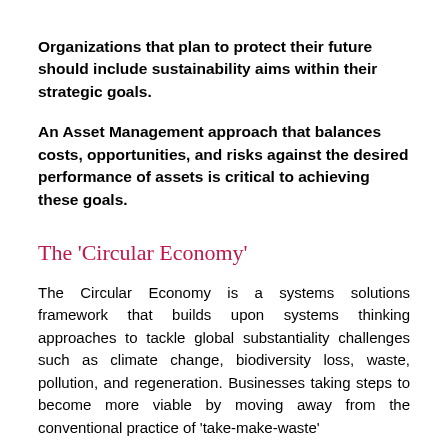Organizations that plan to protect their future should include sustainability aims within their strategic goals.
An Asset Management approach that balances costs, opportunities, and risks against the desired performance of assets is critical to achieving these goals.
The 'Circular Economy'
The Circular Economy is a systems solutions framework that builds upon systems thinking approaches to tackle global substantiality challenges such as climate change, biodiversity loss, waste, pollution, and regeneration. Businesses taking steps to become more viable by moving away from the conventional practice of 'take-make-waste'